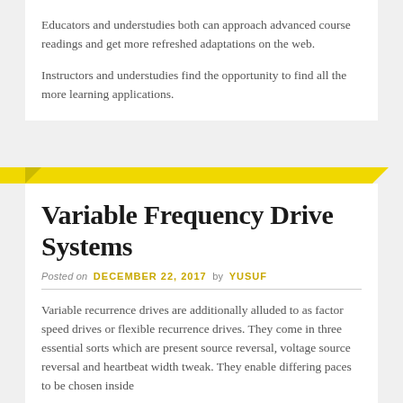Educators and understudies both can approach advanced course readings and get more refreshed adaptations on the web.
Instructors and understudies find the opportunity to find all the more learning applications.
Variable Frequency Drive Systems
Posted on DECEMBER 22, 2017 by YUSUF
Variable recurrence drives are additionally alluded to as factor speed drives or flexible recurrence drives. They come in three essential sorts which are present source reversal, voltage source reversal and heartbeat width tweak. They enable differing paces to be chosen inside